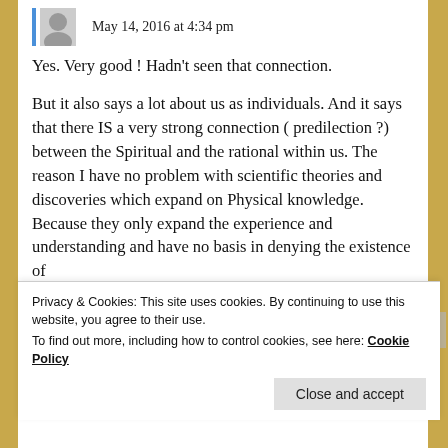May 14, 2016 at 4:34 pm
Yes. Very good ! Hadn't seen that connection.
But it also says a lot about us as individuals. And it says that there IS a very strong connection ( predilection ?) between the Spiritual and the rational within us. The reason I have no problem with scientific theories and discoveries which expand on Physical knowledge. Because they only expand the experience and understanding and have no basis in denying the existence of
Privacy & Cookies: This site uses cookies. By continuing to use this website, you agree to their use.
To find out more, including how to control cookies, see here: Cookie Policy